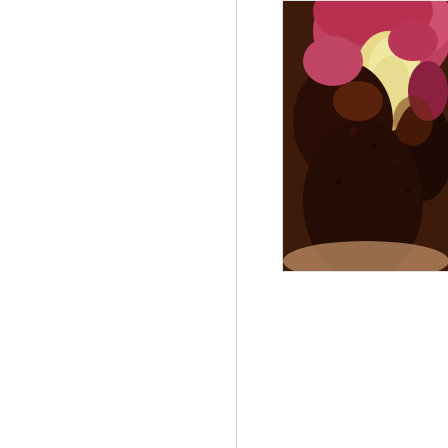[Figure (photo): Close-up photo of a chocolate cake with pink/red and cream colored frosting or layers, partially cropped, showing texture of cake surface.]
Posted by julia at 10:27 AM
Labels: cake, chocolate